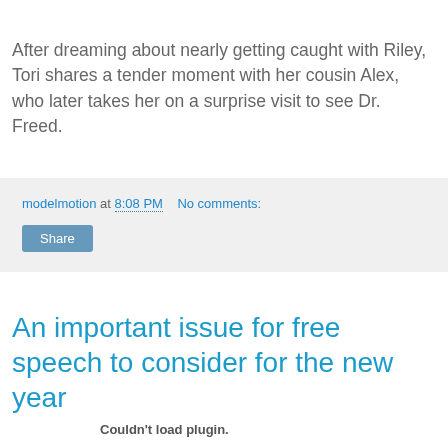After dreaming about nearly getting caught with Riley, Tori shares a tender moment with her cousin Alex, who later takes her on a surprise visit to see Dr. Freed.
modelmotion at 8:08 PM   No comments:
Share
An important issue for free speech to consider for the new year
Couldn't load plugin.